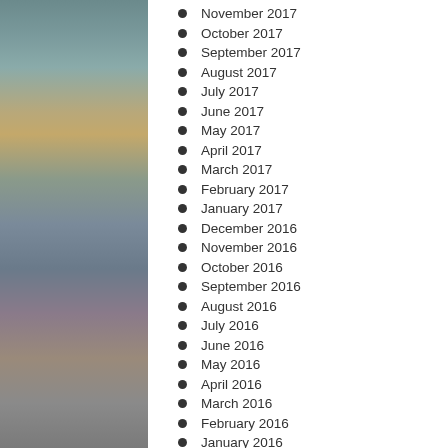November 2017
October 2017
September 2017
August 2017
July 2017
June 2017
May 2017
April 2017
March 2017
February 2017
January 2017
December 2016
November 2016
October 2016
September 2016
August 2016
July 2016
June 2016
May 2016
April 2016
March 2016
February 2016
January 2016